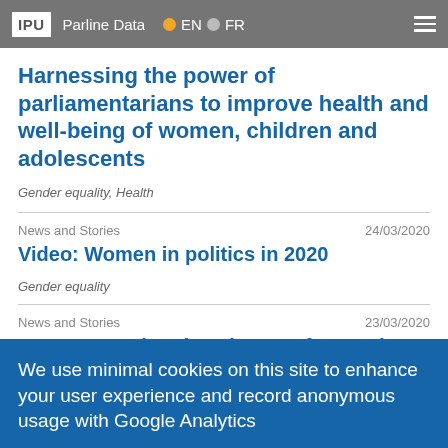IPU  Parline Data  EN  FR
Harnessing the power of parliamentarians to improve health and well-being of women, children and adolescents
Gender equality, Health
News and Stories  24/03/2020
Video: Women in politics in 2020
Gender equality
News and Stories  23/03/2020
COVID-19: What does it mean for gender?
We use minimal cookies on this site to enhance your user experience and record anonymous usage with Google Analytics